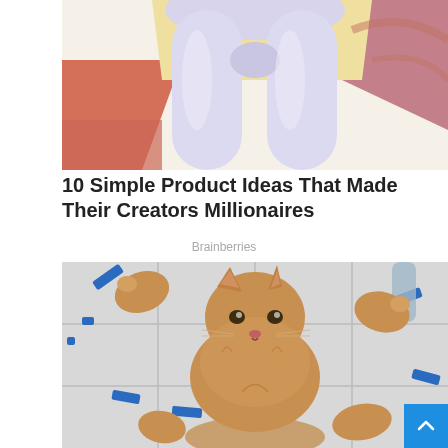[Figure (photo): Illustration of a person wearing light lavender/white leggings, lower body visible from waist to knees, with a colorful abstract background in yellow, pink, and coral tones]
10 Simple Product Ideas That Made Their Creators Millionaires
Brainberries
[Figure (photo): A fluffy orange/brown cat being held up by human hands, photographed from above, with the cat spreading its paws. The cat is on a white tiled floor with blue tape pieces scattered around. A blue scroll-to-top button is visible in the bottom right.]